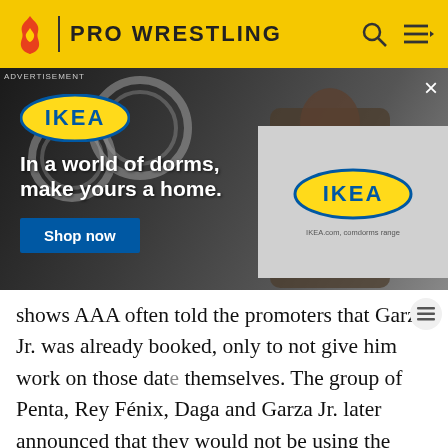PRO WRESTLING
[Figure (photo): IKEA advertisement showing a young Black woman applying makeup in a dorm room with ring lights and mirrors. Text reads: 'In a world of dorms, make yours a home. Shop now'. An overlapping inset panel shows the IKEA logo on a grey background. ADVERTISEMENT label at top left. X close button at top right.]
shows AAA often told the promoters that Garza Jr. was already booked, only to not give him work on those dates themselves. The group of Penta, Rey Fénix, Daga and Garza Jr. later announced that they would not be using the Perros del Mal name for the group, like Pentagón Jr. and Daga had used in AAA but instead come up with a new name for the group. The group was named La Rebelión and would later include El Zorro and Rey Mysterio Jr.